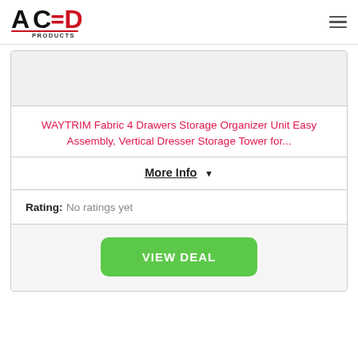[Figure (logo): ACED Products logo — black and red stylized text with underline, 'PRODUCTS' below]
WAYTRIM Fabric 4 Drawers Storage Organizer Unit Easy Assembly, Vertical Dresser Storage Tower for...
More Info ▼
Rating: No ratings yet
VIEW DEAL